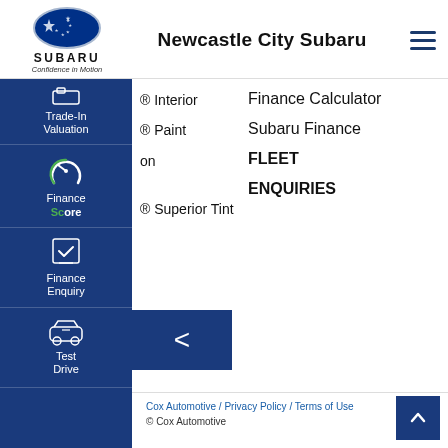[Figure (logo): Subaru logo with star emblem, SUBARU text, and tagline 'Confidence in Motion']
Newcastle City Subaru
Trade-In Valuation
Finance Score
Finance Enquiry
Test Drive
® Interior
® Paint
on
® Superior Tint
Finance Calculator
Subaru Finance
FLEET
ENQUIRIES
Cox Automotive / Privacy Policy / Terms of Use
© 2024 Cox Automotive